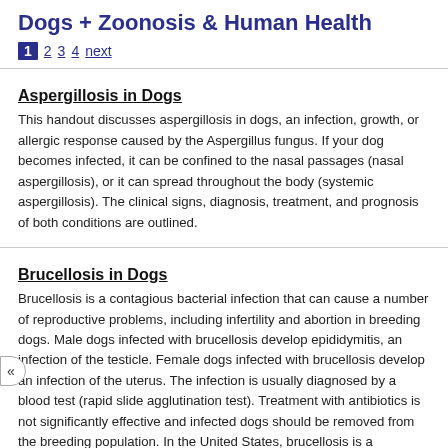Dogs + Zoonosis & Human Health
1 2 3 4 next
Aspergillosis in Dogs
This handout discusses aspergillosis in dogs, an infection, growth, or allergic response caused by the Aspergillus fungus. If your dog becomes infected, it can be confined to the nasal passages (nasal aspergillosis), or it can spread throughout the body (systemic aspergillosis). The clinical signs, diagnosis, treatment, and prognosis of both conditions are outlined.
Brucellosis in Dogs
Brucellosis is a contagious bacterial infection that can cause a number of reproductive problems, including infertility and abortion in breeding dogs. Male dogs infected with brucellosis develop epididymitis, an infection of the testicle. Female dogs infected with brucellosis develop an infection of the uterus. The infection is usually diagnosed by a blood test (rapid slide agglutination test). Treatment with antibiotics is not significantly effective and infected dogs should be removed from the breeding population. In the United States, brucellosis is a reportable disease.